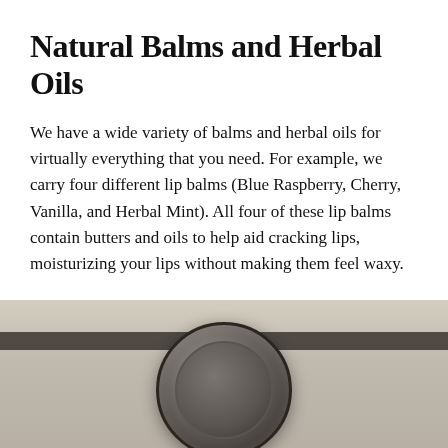Natural Balms and Herbal Oils
We have a wide variety of balms and herbal oils for virtually everything that you need. For example, we carry four different lip balms (Blue Raspberry, Cherry, Vanilla, and Herbal Mint). All four of these lip balms contain butters and oils to help aid cracking lips, moisturizing your lips without making them feel waxy.
We also carry different natural herbal balms to help soothe the skin and aid in other areas of the body:
[Figure (photo): A partially visible photograph showing a metal tin/jar containing a natural balm product, placed on a light-colored surface with a dark shelf edge visible above.]